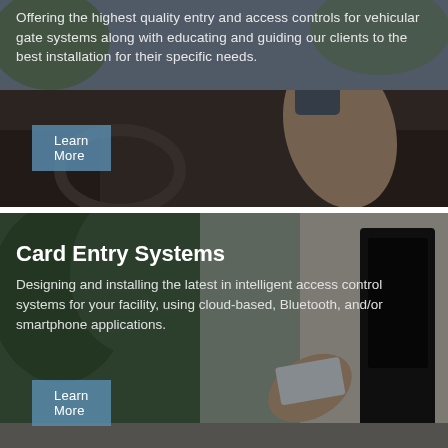[Figure (photo): Car interior dashboard scene - person's hand holding a card near a reader, dark overlay with blurred background]
Offering the highest quality entry and access controls for vehicular gate systems along with educating and guiding our clients to the best installation for their specific needs.
Learn More
[Figure (photo): Outdoor card entry system - person tapping card on a mounted reader device, dark overlay with blurred background trees and building]
Card Entry Systems
Designing and installing the latest in intelligent access control systems for your facility, using cloud-based, Bluetooth, and/or smartphone applications.
Learn More